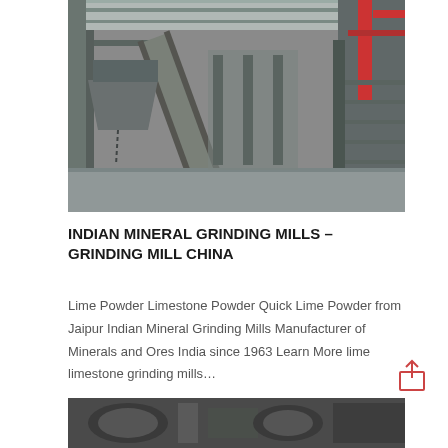[Figure (photo): Industrial mineral grinding mill interior showing conveyor belts, metal scaffolding, and processing equipment inside a large warehouse facility.]
INDIAN MINERAL GRINDING MILLS – GRINDING MILL CHINA
Lime Powder Limestone Powder Quick Lime Powder from Jaipur Indian Mineral Grinding Mills Manufacturer of Minerals and Ores India since 1963 Learn More lime limestone grinding mills…
[Figure (photo): Bottom portion of another industrial grinding mill photo, partially visible.]